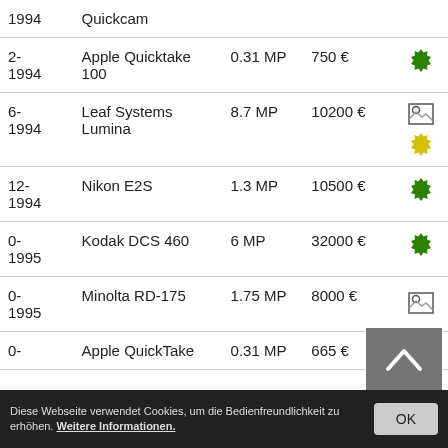| Date | Name | MP | Price | Status |
| --- | --- | --- | --- | --- |
| 1994 | Quickcam |  |  |  |
| 2-1994 | Apple Quicktake 100 | 0.31 MP | 750 € | green |
| 6-1994 | Leaf Systems Lumina | 8.7 MP | 10200 € | yellow/image |
| 12-1994 | Nikon E2S | 1.3 MP | 10500 € | green |
| 0-1995 | Kodak DCS 460 | 6 MP | 32000 € | green |
| 0-1995 | Minolta RD-175 | 1.75 MP | 8000 € | image |
| 0- | Apple QuickTake | 0.31 MP | 665 € |  |
Diese Webseite verwendet Cookies, um die Bedienfreundlichkeit zu erhöhen. Weitere Informationen.